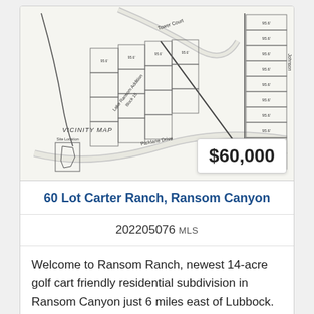[Figure (map): Plat/vicinity map showing subdivision lots in Ransom Canyon area, with roads including Tower Court and Parklane Drive, and Lake Ransom Addition Block 15 labeled. A vicinity inset map shows site location. Lot dimensions are noted throughout.]
60 Lot Carter Ranch, Ransom Canyon
202205076 MLS
Welcome to Ransom Ranch, newest 14-acre golf cart friendly residential subdivision in Ransom Canyon just 6 miles east of Lubbock. Lots have access to city utilities